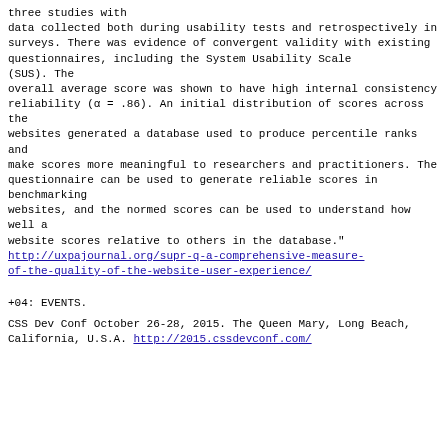three studies with
data collected both during usability tests and retrospectively in
surveys. There was evidence of convergent validity with existing
questionnaires, including the System Usability Scale
(SUS). The
overall average score was shown to have high internal consistency
reliability (α = .86). An initial distribution of scores across the
websites generated a database used to produce percentile ranks and
make scores more meaningful to researchers and practitioners. The
questionnaire can be used to generate reliable scores in benchmarking
websites, and the normed scores can be used to understand how well a
website scores relative to others in the database."
http://uxpajournal.org/supr-q-a-comprehensive-measure-of-the-quality-of-the-website-user-experience/
+04: EVENTS.
CSS Dev Conf
October 26-28, 2015.
The Queen Mary, Long Beach, California, U.S.A.
http://2015.cssdevconf.com/